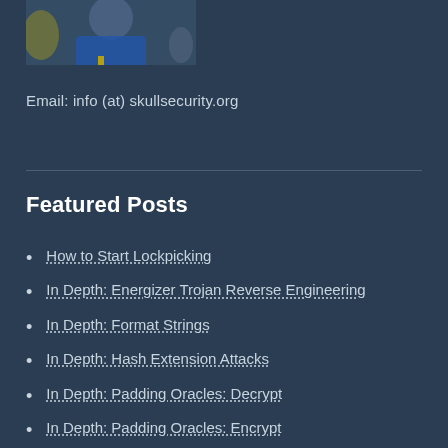[Figure (photo): A partial photo of a person wearing a blue shirt, cropped at the top of the page]
Email: info (at) skullsecurity.org
Featured Posts
How to Start Lockpicking
In Depth: Energizer Trojan Reverse Engineering
In Depth: Format Strings
In Depth: Hash Extension Attacks
In Depth: Padding Oracles: Decrypt
In Depth: Padding Oracles: Encrypt
In Depth: ROP (Return Oriented Programming)